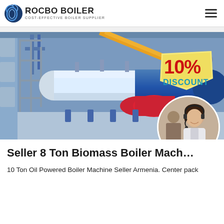ROCBO BOILER — COST-EFFECTIVE BOILER SUPPLIER
[Figure (photo): Industrial boiler machine in a factory setting, with white/blue cylindrical boiler, yellow pipes, and a 10% DISCOUNT badge overlay. A circular inset photo shows a female customer service agent with headset smiling.]
Seller 8 Ton Biomass Boiler Mach…
10 Ton Oil Powered Boiler Machine Seller Armenia. Center pack